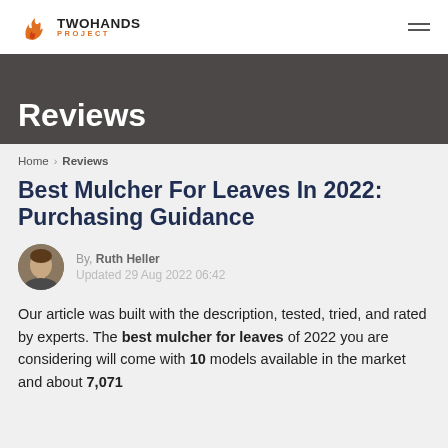TWOHANDS PROJECT
[Figure (photo): Hero banner image with blueprints and tools on a wooden surface, overlaid with dark semi-transparent gradient]
Reviews
Home > Reviews
Best Mulcher For Leaves In 2022: Purchasing Guidance
By, Ruth Heller
Updated 29 Aug 2022 06:42
Our article was built with the description, tested, tried, and rated by experts. The best mulcher for leaves of 2022 you are considering will come with 10 models available in the market and about 7,071